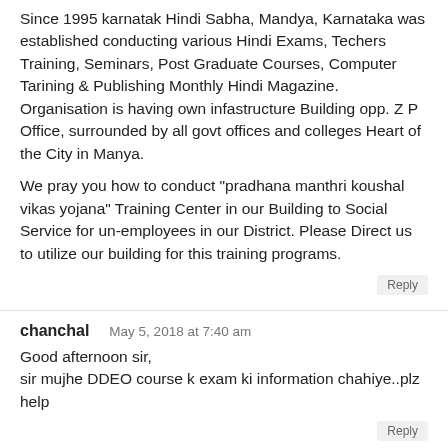Since 1995 karnatak Hindi Sabha, Mandya, Karnataka was established conducting various Hindi Exams, Techers Training, Seminars, Post Graduate Courses, Computer Tarining & Publishing Monthly Hindi Magazine. Organisation is having own infastructure Building opp. Z P Office, surrounded by all govt offices and colleges Heart of the City in Manya.
We pray you how to conduct "pradhana manthri koushal vikas yojana" Training Center in our Building to Social Service for un-employees in our District. Please Direct us to utilize our building for this training programs.
Reply
chanchal — May 5, 2018 at 7:40 am
Good afternoon sir,
sir mujhe DDEO course k exam ki information chahiye..plz help
Reply